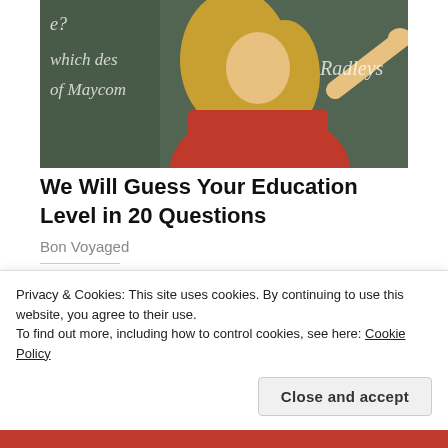[Figure (photo): A blonde woman in a red turtleneck top pointing at a chalkboard. The chalkboard has partial text visible: 'e?', 'which des', 'of Maycom', 'Radleys']
We Will Guess Your Education Level in 20 Questions
Bon Voyaged
Share this:
Privacy & Cookies: This site uses cookies. By continuing to use this website, you agree to their use.
To find out more, including how to control cookies, see here: Cookie Policy
Close and accept